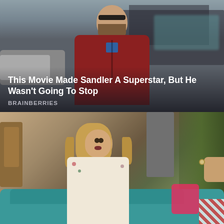[Figure (photo): Man wearing sunglasses and a dark red/maroon hoodie with a blue shirt underneath, standing outdoors in a parking lot area with cars and buildings visible in the background. Overcast sky. Text overlay at bottom reads the headline and source.]
This Movie Made Sandler A Superstar, But He Wasn't Going To Stop
BRAINBERRIES
[Figure (photo): Young woman with long wavy blonde hair wearing a floral blouse, sitting on a teal couch and looking surprised or startled. She appears to be in an indoor TV set or apartment setting with green curtains and wooden furniture visible in background. Another person's hand is visible at right edge.]